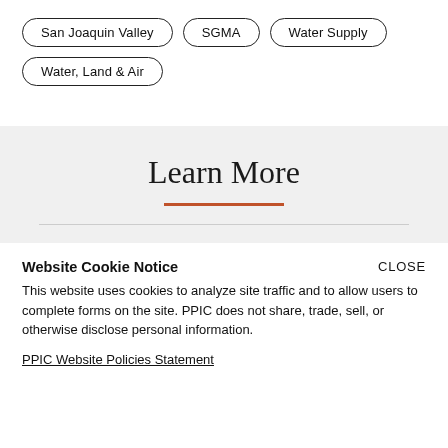San Joaquin Valley
SGMA
Water Supply
Water, Land & Air
Learn More
Website Cookie Notice
This website uses cookies to analyze site traffic and to allow users to complete forms on the site. PPIC does not share, trade, sell, or otherwise disclose personal information.
PPIC Website Policies Statement